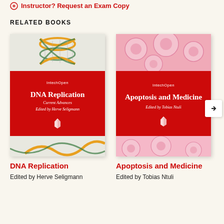Instructor? Request an Exam Copy
RELATED BOOKS
[Figure (illustration): Book cover for DNA Replication: Current Advances, edited by Herve Seligmann. IntechOpen. Red band with white text, DNA helix imagery top and bottom.]
[Figure (illustration): Book cover for Apoptosis and Medicine, edited by Tobias Ntuli. IntechOpen. Red band with white text, pink microscopy cell imagery top and bottom.]
DNA Replication
Edited by Herve Seligmann
Apoptosis and Medicine
Edited by Tobias Ntuli